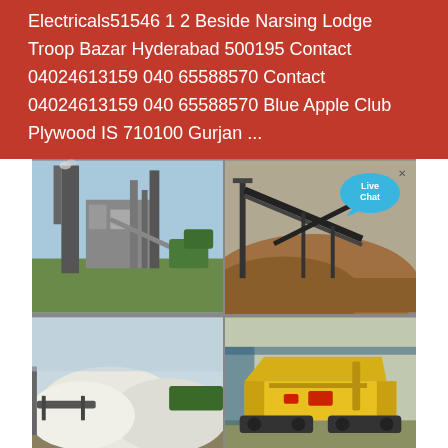Electricals51546 1 2 Beside Narsing Lodge Troop Bazar Hyderabad 500195 Contact 04024613159 040 65588570 Contact 04024613159 040 65588570 Blue Apple Club Plywood IS 710100 Gurjan ...
[Figure (photo): Four-panel grid of construction/quarrying photos: top-left shows an industrial plant with tall structures and blue sky; top-right shows a conveyor belt system over a sand/gravel mound with 'Live Chat' badge overlay; bottom-left shows large white sand or stone aggregate mounds with conveyor equipment; bottom-right shows a yellow mobile crushing/screening machine on tracks.]
HYDERABAD CONSTRUCTION BUILDING MATERIAL PRICE LIST | ...